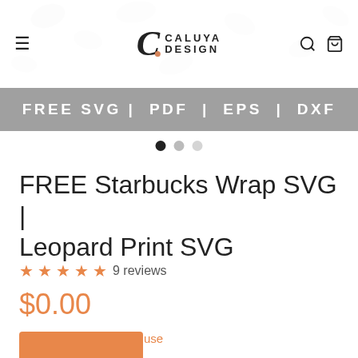CALUYA DESIGN
[Figure (infographic): Gray banner with white text reading: FREE SVG | PDF | EPS | DXF]
● ● ●
FREE Starbucks Wrap SVG | Leopard Print SVG
★★★★★ 9 reviews
$0.00
License type: Personal use